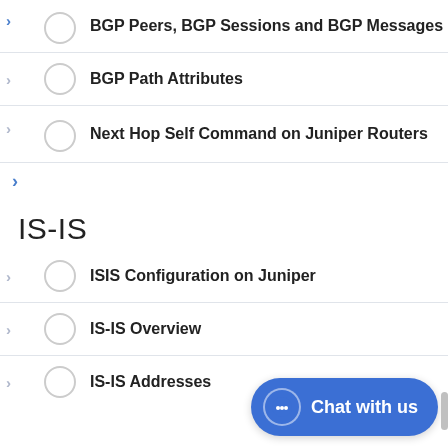BGP Peers, BGP Sessions and BGP Messages
BGP Path Attributes
Next Hop Self Command on Juniper Routers
IS-IS
ISIS Configuration on Juniper
IS-IS Overview
IS-IS Addresses